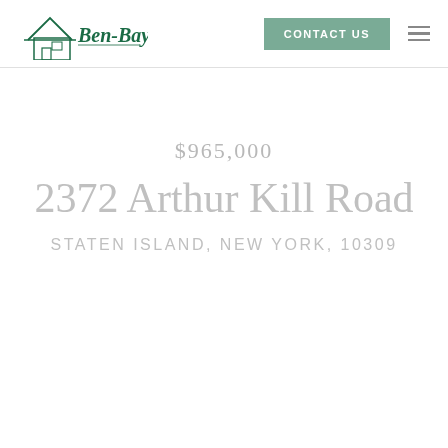[Figure (logo): Ben-Bay realty logo with house/building outline in green ink style]
CONTACT US
$965,000
2372 Arthur Kill Road
STATEN ISLAND, NEW YORK, 10309